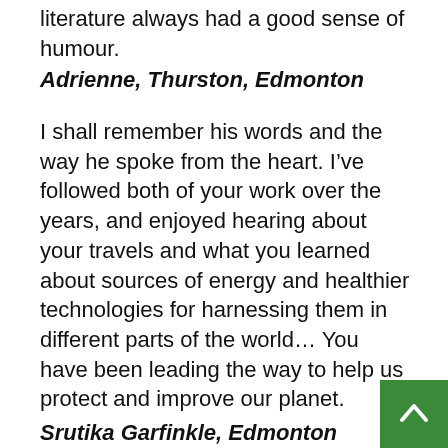literature always had a good sense of humour.
Adrienne, Thurston, Edmonton
I shall remember his words and the way he spoke from the heart. I’ve followed both of your work over the years, and enjoyed hearing about your travels and what you learned about sources of energy and healthier technologies for harnessing them in different parts of the world… You have been leading the way to help us protect and improve our planet.
Srutika Garfinkle, Edmonton
Tooker was a great man in many ways, but his willingness to place himself in front of the machine helped me specifically. I was crushed by the rear wheels of a transport vehicle, and when Tooker heard, he made sure that I knew that I was supp… by many here in the Toronto bike community. He will